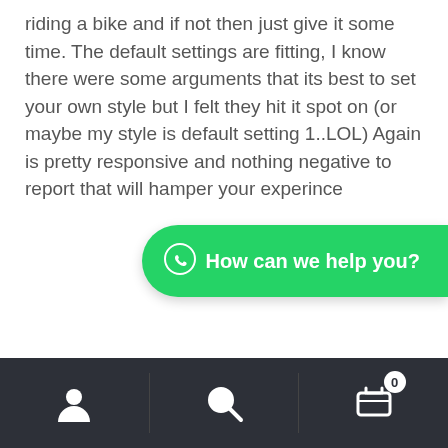riding a bike and if not then just give it some time. The default settings are fitting, I know there were some arguments that its best to set your own style but I felt they hit it spot on (or maybe my style is default setting 1..LOL) Again is pretty responsive and nothing negative to report that will hamper your experince
[Figure (other): WhatsApp chat button with green background showing 'How can we help you?' text and WhatsApp icon]
Navigation bar with user icon, search icon, and cart icon with badge showing 0